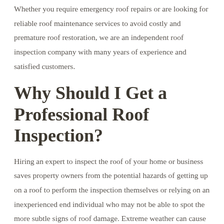Whether you require emergency roof repairs or are looking for reliable roof maintenance services to avoid costly and premature roof restoration, we are an independent roof inspection company with many years of experience and satisfied customers.
Why Should I Get a Professional Roof Inspection?
Hiring an expert to inspect the roof of your home or business saves property owners from the potential hazards of getting up on a roof to perform the inspection themselves or relying on an inexperienced end individual who may not be able to spot the more subtle signs of roof damage. Extreme weather can cause damage to the roof of your Nashville property that may not be